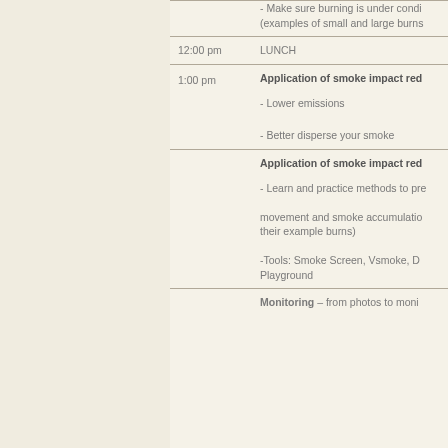- Make sure burning is under conditions (examples of small and large burns
12:00 pm   LUNCH
1:00 pm   Application of smoke impact red
- Lower emissions
- Better disperse your smoke
Application of smoke impact red
- Learn and practice methods to pre movement and smoke accumulation their example burns)
-Tools: Smoke Screen, Vsmoke, D Playground
Monitoring – from photos to moni